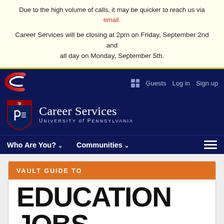Due to the high volume of calls, it may be quicker to reach us via email.
Career Services will be closing at 2pm on Friday, September 2nd and all day on Monday, September 5th.
[Figure (logo): University of Pennsylvania Career Services logo with Penn shield and text 'Career Services University of Pennsylvania']
Who Are You? v   Communities v
[Figure (illustration): Vault Guide to Education Jobs book cover with orange header bar reading 'VAULT GUIDE TO' and bold black text 'EDUCATION JOBS']